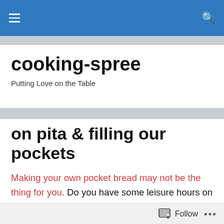cooking-spree — navigation bar
cooking-spree
Putting Love on the Table
on pita & filling our pockets
Making your own pocket bread may not be the thing for you. Do you have some leisure hours on one of your weekend days that you might like to spend playing with soft little pillows of dough? Do you find it a thing of pleasure to create something from scratch, something you can easily grab off the shelf, machine-made and already
Follow